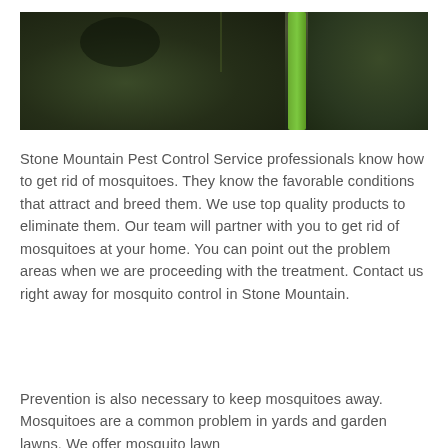[Figure (photo): Close-up photo of a green plant stem against a dark blurred background, likely depicting grass or reeds in a garden/yard setting]
Stone Mountain Pest Control Service professionals know how to get rid of mosquitoes. They know the favorable conditions that attract and breed them. We use top quality products to eliminate them. Our team will partner with you to get rid of mosquitoes at your home. You can point out the problem areas when we are proceeding with the treatment. Contact us right away for mosquito control in Stone Mountain.
Prevention is also necessary to keep mosquitoes away. Mosquitoes are a common problem in yards and garden lawns. We offer mosquito lawn